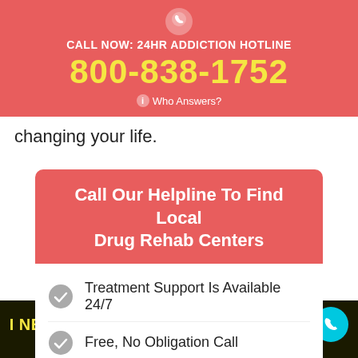CALL NOW: 24HR ADDICTION HOTLINE
800-838-1752
Who Answers?
changing your life.
Call Our Helpline To Find Local Drug Rehab Centers
Treatment Support Is Available 24/7
Free, No Obligation Call
Gain Access To The Best Drug
I NEED TO TALK TO SOMEONE NOW
Who Answers?